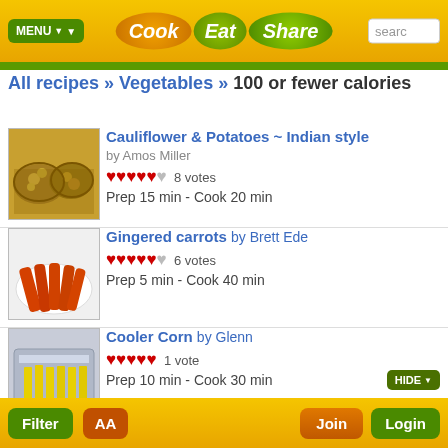Cook Eat Share
All recipes » Vegetables » 100 or fewer calories
[Figure (photo): Cauliflower and potatoes dish in metal bowls on wooden surface]
Cauliflower & Potatoes ~ Indian style
by Amos Miller
♥♥♥♥♥ 8 votes
Prep 15 min - Cook 20 min
[Figure (photo): Gingered carrots in white bowl]
Gingered carrots by Brett Ede
♥♥♥♥♥ 6 votes
Prep 5 min - Cook 40 min
[Figure (photo): Cooler corn in a cooler]
Cooler Corn by Glenn
♥♥♥♥♥ 1 vote
Prep 10 min - Cook 30 min
Filter  AA  Join  Login